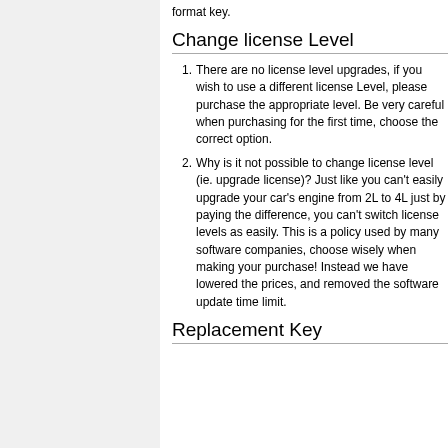format key.
Change license Level
There are no license level upgrades, if you wish to use a different license Level, please purchase the appropriate level. Be very careful when purchasing for the first time, choose the correct option.
Why is it not possible to change license level (ie. upgrade license)? Just like you can't easily upgrade your car's engine from 2L to 4L just by paying the difference, you can't switch license levels as easily. This is a policy used by many software companies, choose wisely when making your purchase! Instead we have lowered the prices, and removed the software update time limit.
Replacement Key